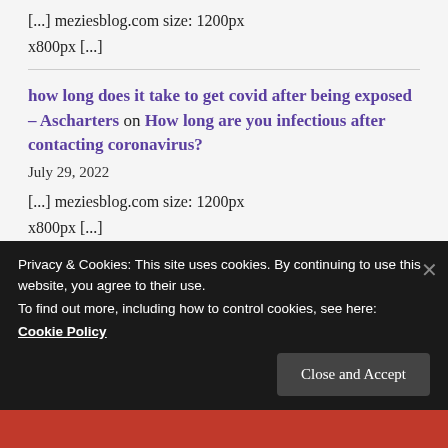[...] meziesblog.com size: 1200px x800px [...]
how long does it take to get covid after being exposed – Ascharters on How long are you infectious after contacting coronavirus?
July 29, 2022
[...] meziesblog.com size: 1200px x800px [...]
Privacy & Cookies: This site uses cookies. By continuing to use this website, you agree to their use.
To find out more, including how to control cookies, see here:
Cookie Policy
Close and Accept